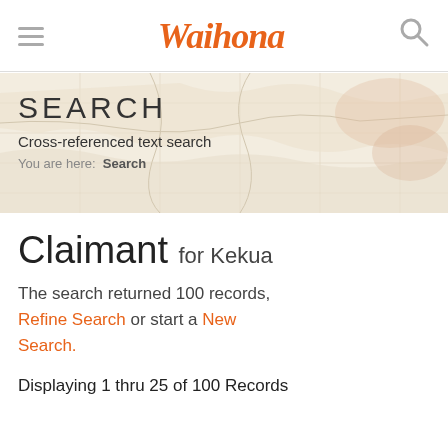Waihona
[Figure (map): Faded vintage map used as decorative banner background with SEARCH heading overlay]
SEARCH
Cross-referenced text search
You are here: Search
Claimant for Kekua
The search returned 100 records, Refine Search or start a New Search.
Displaying 1 thru 25 of 100 Records